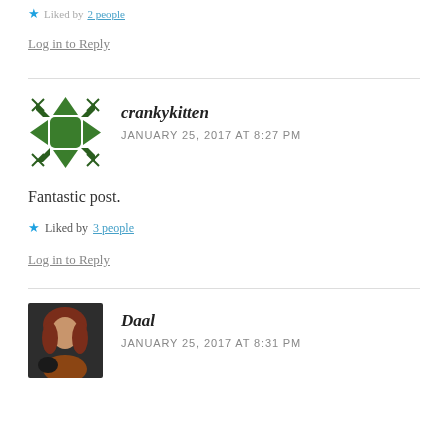★ Liked by 2 people
Log in to Reply
crankykitten
JANUARY 25, 2017 AT 8:27 PM
Fantastic post.
★ Liked by 3 people
Log in to Reply
Daal
JANUARY 25, 2017 AT 8:31 PM